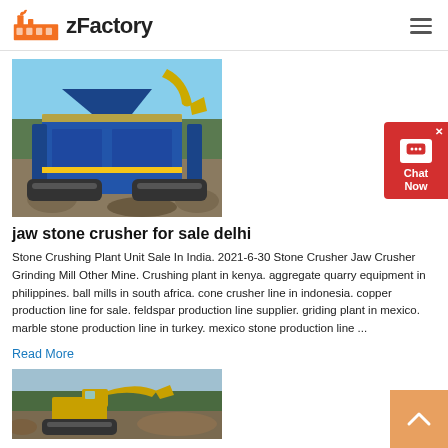zFactory
[Figure (photo): Blue mobile jaw stone crusher machine on tracks at an outdoor quarry site with trees in background]
jaw stone crusher for sale delhi
Stone Crushing Plant Unit Sale In India. 2021-6-30 Stone Crusher Jaw Crusher Grinding Mill Other Mine. Crushing plant in kenya. aggregate quarry equipment in philippines. ball mills in south africa. cone crusher line in indonesia. copper production line for sale. feldspar production line supplier. griding plant in mexico. marble stone production line in turkey. mexico stone production line ...
Read More
[Figure (photo): Yellow excavator working at a quarry or construction site with forest in background]